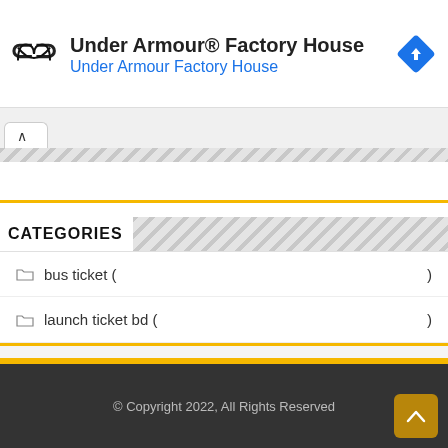[Figure (screenshot): Under Armour Factory House advertisement banner with logo, title, subtitle in blue, and blue navigation arrow icon]
Under Armour® Factory House
Under Armour Factory House
CATEGORIES
bus ticket (                    )
launch ticket bd (                         )
© Copyright 2022, All Rights Reserved